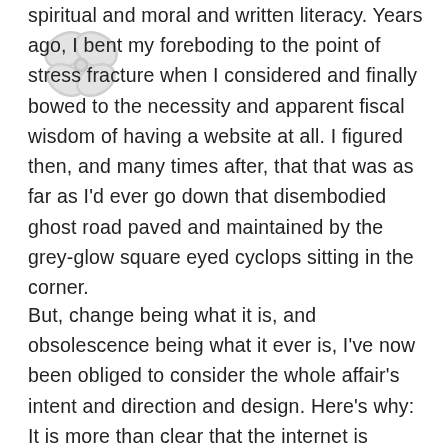[Figure (logo): A decorative floral or butterfly-like watermark/logo in light gray at the top left]
spiritual and moral and written literacy. Years ago, I bent my foreboding to the point of stress fracture when I considered and finally bowed to the necessity and apparent fiscal wisdom of having a website at all. I figured then, and many times after, that that was as far as I'd ever go down that disembodied ghost road paved and maintained by the grey-glow square eyed cyclops sitting in the corner.
But, change being what it is, and obsolescence being what it ever is, I've now been obliged to consider the whole affair's intent and direction and design. Here's why: It is more than clear that the internet is already the de facto belief system of more people than not. More people than not are